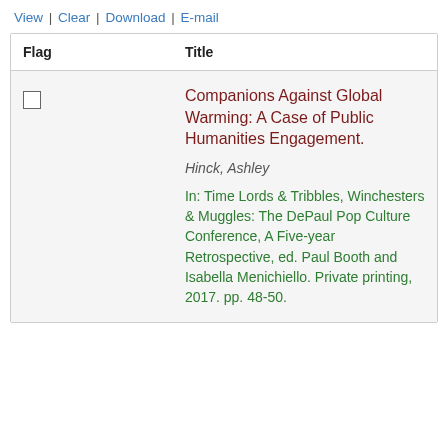View | Clear | Download | E-mail
| Flag | Title |
| --- | --- |
| ☐ | Companions Against Global Warming: A Case of Public Humanities Engagement.
Hinck, Ashley
In: Time Lords & Tribbles, Winchesters & Muggles: The DePaul Pop Culture Conference, A Five-year Retrospective, ed. Paul Booth and Isabella Menichiello. Private printing, 2017. pp. 48-50. |